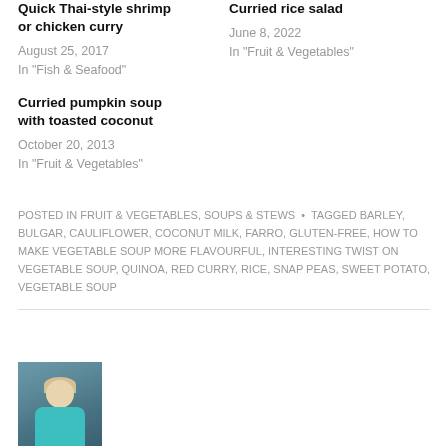Quick Thai-style shrimp or chicken curry
August 25, 2017
In "Fish & Seafood"
Curried rice salad
June 8, 2022
In "Fruit & Vegetables"
Curried pumpkin soup with toasted coconut
October 20, 2013
In "Fruit & Vegetables"
POSTED IN FRUIT & VEGETABLES, SOUPS & STEWS • TAGGED BARLEY, BULGAR, CAULIFLOWER, COCONUT MILK, FARRO, GLUTEN-FREE, HOW TO MAKE VEGETABLE SOUP MORE FLAVOURFUL, INTERESTING TWIST ON VEGETABLE SOUP, QUINOA, RED CURRY, RICE, SNAP PEAS, SWEET POTATO, VEGETABLE SOUP
[Figure (photo): Portrait photo of a blonde woman in a teal/turquoise top, sitting with hands folded, against a dark background]